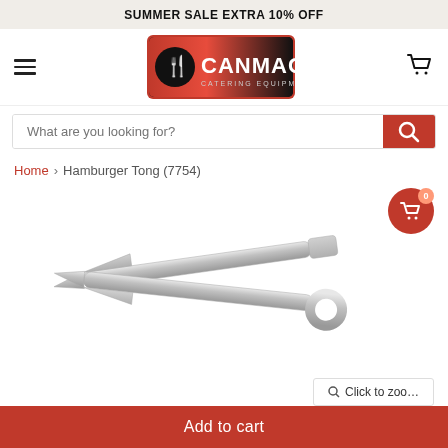SUMMER SALE EXTRA 10% OFF
[Figure (logo): Canmac Catering Equipment Supplier logo — red and black with chef figure]
What are you looking for?
Home > Hamburger Tong (7754)
[Figure (photo): Stainless steel hamburger tong product photo on white background]
Add to cart